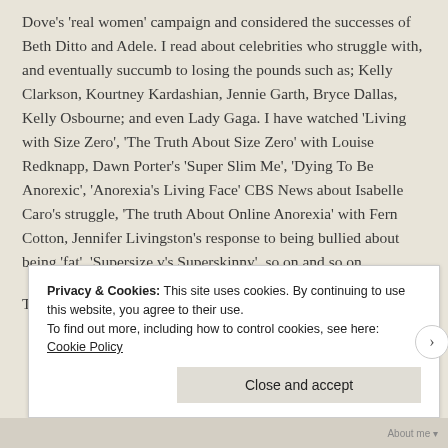Dove's 'real women' campaign and considered the successes of Beth Ditto and Adele. I read about celebrities who struggle with, and eventually succumb to losing the pounds such as; Kelly Clarkson, Kourtney Kardashian, Jennie Garth, Bryce Dallas, Kelly Osbourne; and even Lady Gaga. I have watched 'Living with Size Zero', 'The Truth About Size Zero' with Louise Redknapp, Dawn Porter's 'Super Slim Me', 'Dying To Be Anorexic', 'Anorexia's Living Face' CBS News about Isabelle Caro's struggle, 'The truth About Online Anorexia' with Fern Cotton, Jennifer Livingston's response to being bullied about being 'fat', 'Supersize v's Superskinny', so on and so on.
The amount of information available and the opinion on the...
Privacy & Cookies: This site uses cookies. By continuing to use this website, you agree to their use.
To find out more, including how to control cookies, see here: Cookie Policy
Close and accept